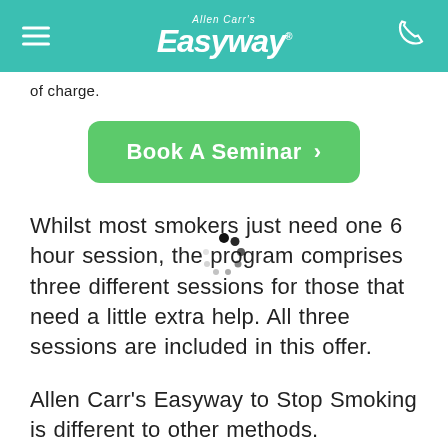Allen Carr's Easyway
of charge.
Book A Seminar >
Whilst most smokers just need one 6 hour session, the program comprises three different sessions for those that need a little extra help. All three sessions are included in this offer.
Allen Carr's Easyway to Stop Smoking is different to other methods.
We won't dwell on the scary side of